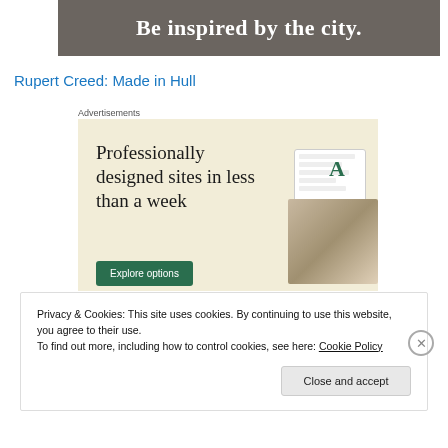[Figure (photo): Partial hero image with dark brownish-grey background and white serif text reading 'Be inspired by the city.']
Rupert Creed: Made in Hull
Advertisements
[Figure (screenshot): Advertisement with cream background showing text 'Professionally designed sites in less than a week' with a green 'Explore options' button and mockup UI screenshots on the right.]
Privacy & Cookies: This site uses cookies. By continuing to use this website, you agree to their use.
To find out more, including how to control cookies, see here: Cookie Policy
Close and accept